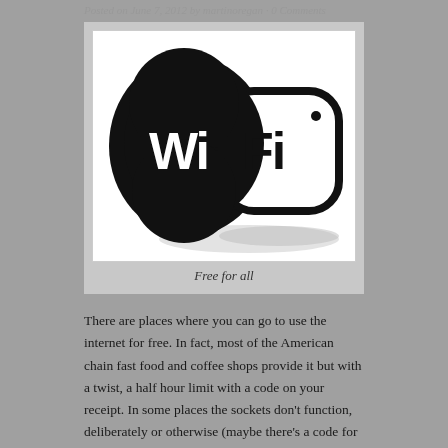Posted on June 7, 2012 by martinoregan · 0 Comments
[Figure (logo): Wi-Fi logo: black cloud shape with 'Wi Fi' text in white on a white speech-bubble background]
Free for all
There are places where you can go to use the internet for free. In fact, most of the American chain fast food and coffee shops provide it but with a twist, a half hour limit with a code on your receipt. In some places the sockets don't function, deliberately or otherwise (maybe there's a code for them too). Those places, however, which cater to both needs, i.e. really free internet (unlimited) and a charge up for you battery, are worth